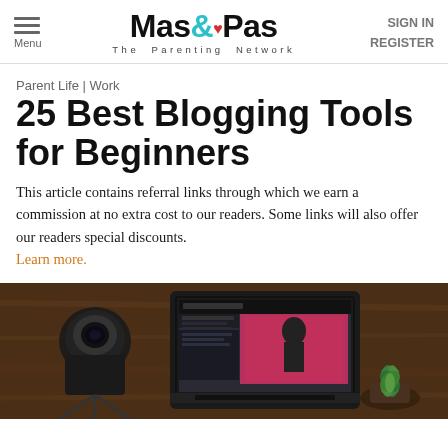Menu | Mas&Pas The Parenting Network | SIGN IN REGISTER
Parent Life | Work
25 Best Blogging Tools for Beginners
This article contains referral links through which we earn a commission at no extra cost to our readers. Some links will also offer our readers special discounts. Learn more.
[Figure (photo): Overhead view of a wooden desk with a laptop showing a fashion/blogging website, a camera on a tripod, and a small succulent plant.]